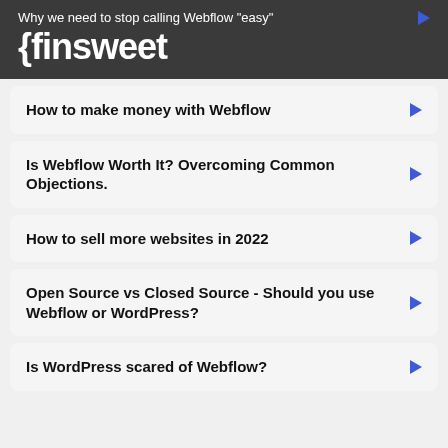Why we need to stop calling Webflow "easy"
{finsweet
How to make money with Webflow
Is Webflow Worth It? Overcoming Common Objections.
How to sell more websites in 2022
Open Source vs Closed Source - Should you use Webflow or WordPress?
Is WordPress scared of Webflow?